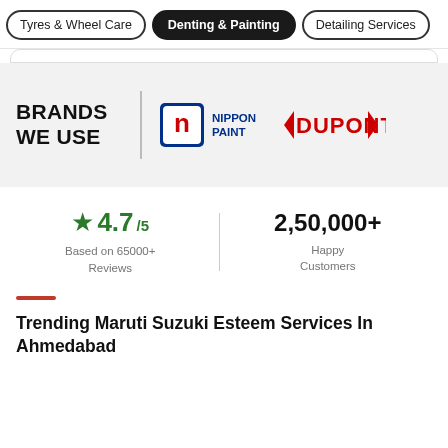Tyres & Wheel Care | Denting & Painting | Detailing Services
[Figure (logo): Brands We Use section with Nippon Paint and DuPont logos on grey background]
4.7/5 Based on 65000+ Reviews
2,50,000+ Happy Customers
Trending Maruti Suzuki Esteem Services In Ahmedabad